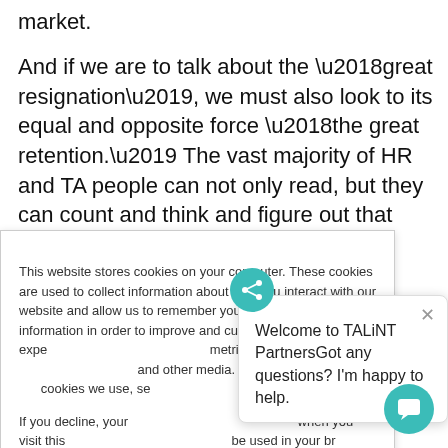market.
And if we are to talk about the ‘great resignation’, we must also look to its equal and opposite force ‘the great retention.’ The vast majority of HR and TA people can not only read, but they can count and think and figure out that something needs to be done. Whether that’s increasing
This website stores cookies on your computer. These cookies are used to collect information about how you interact with our website and allow us to remember you. We use this information in order to improve and customize your browsing experience and for analytics and metrics about our visitors both on this website and other media. To find out more about the cookies we use, see
If you decline, your information won’t be tracked when you visit this website. A single cookie will be used in your browser to remember your preference not to be tracked.
Accept
Decline
Welcome to TALiNT PartnersGot any questions? I’m happy to help.